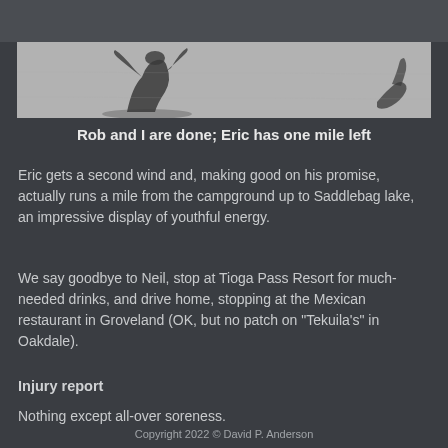[Figure (photo): Black and white photo showing shadows of two people cast on a light-colored ground surface, with a partial view of a boot/foot at the right edge.]
Rob and I are done; Eric has one mile left
Eric gets a second wind and, making good on his promise, actually runs a mile from the campground up to Saddlebag lake, an impressive display of youthful energy.
We say goodbye to Neil, stop at Tioga Pass Resort for much-needed drinks, and drive home, stopping at the Mexican restaurant in Groveland (OK, but no patch on "Tekuila's" in Oakdale).
Injury report
Nothing except all-over soreness.
Copyright 2022 © David P. Anderson